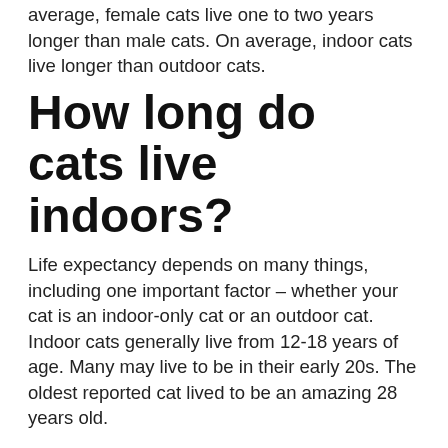average, female cats live one to two years longer than male cats. On average, indoor cats live longer than outdoor cats.
How long do cats live indoors?
Life expectancy depends on many things, including one important factor – whether your cat is an indoor-only cat or an outdoor cat. Indoor cats generally live from 12-18 years of age. Many may live to be in their early 20s. The oldest reported cat lived to be an amazing 28 years old.
What are the symptoms of a cat dying?